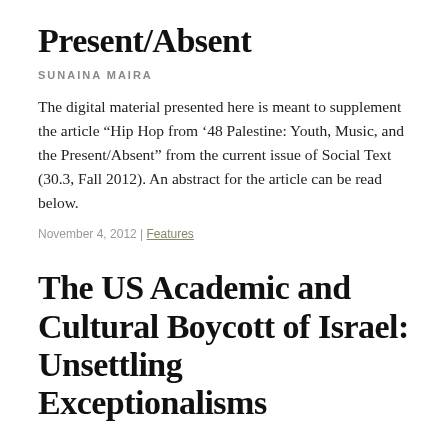Present/Absent
SUNAINA MAIRA
The digital material presented here is meant to supplement the article “Hip Hop from ’48 Palestine: Youth, Music, and the Present/Absent” from the current issue of Social Text (30.3, Fall 2012). An abstract for the article can be read below.
November 4, 2012 | Features
The US Academic and Cultural Boycott of Israel: Unsettling Exceptionalisms